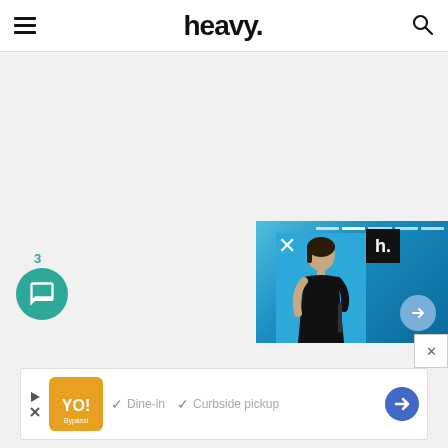heavy.
[Figure (screenshot): Video overlay showing a woman in a black dress on a blue TV studio background, with close X button, heavy. logo, and arrow button]
[Figure (screenshot): Chat bubble icon with badge showing count 3, teal/green circle with message icon]
[Figure (screenshot): Advertisement banner at bottom showing YO! logo, Dine-in and Curbside pickup checkmarks, and navigation arrow]